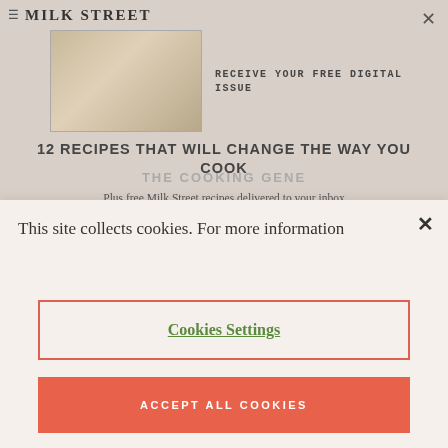[Figure (screenshot): Milk Street website header with logo, hamburger menu, food dish image, and newsletter signup overlay]
12 RECIPES THAT WILL CHANGE THE WAY YOU COOK
THE COOKING GENE
Plus free Milk Street recipes delivered to your inbox each Monday and access to every TV recipe.
This site collects cookies. For more information
Cookies Settings
ACCEPT ALL COOKIES